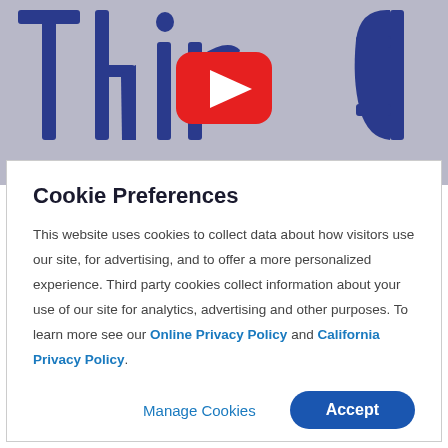[Figure (screenshot): YouTube video thumbnail showing large blue letters partially visible and a red YouTube play button in the center]
Cookie Preferences
This website uses cookies to collect data about how visitors use our site, for advertising, and to offer a more personalized experience. Third party cookies collect information about your use of our site for analytics, advertising and other purposes. To learn more see our Online Privacy Policy and California Privacy Policy.
Manage Cookies
Accept